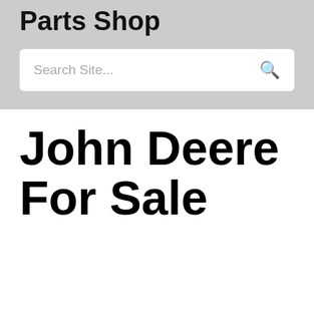Parts Shop
Search Site...
John Deere For Sale